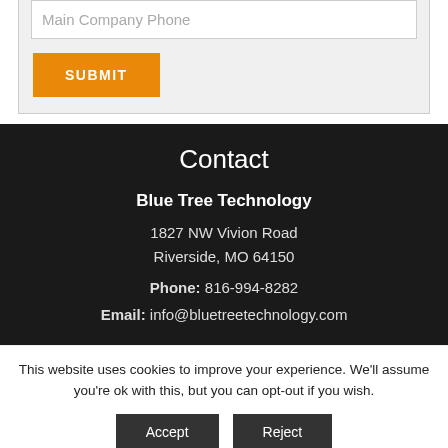[Figure (screenshot): Form input field with placeholder text 'Main Company Phone' and an orange SUBMIT button below it, on a light grey background]
Contact
Blue Tree Technology
1827 NW Vivion Road
Riverside, MO 64150
Phone: 816-994-8282
Email: info@bluetreetechnology.com
This website uses cookies to improve your experience. We'll assume you're ok with this, but you can opt-out if you wish.
Accept  Reject